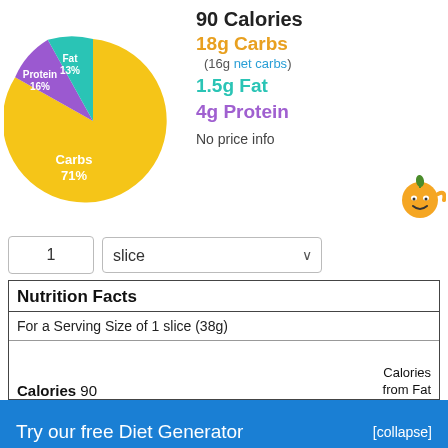[Figure (pie-chart): Macronutrient Distribution]
90 Calories
18g Carbs
(16g net carbs)
1.5g Fat
4g Protein
No price info
1 slice
| Nutrition Facts |
| For a Serving Size of 1 slice (38g) |
| Calories 90 | Calories from Fat |
Try our free Diet Generator
[collapse]
I want to eat 1500 calories in 4 meals.
Generate